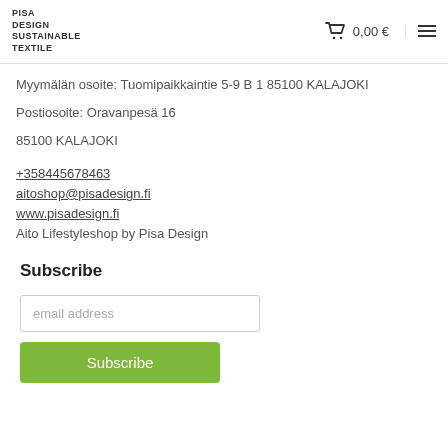PISA DESIGN SUSTAINABLE TEXTILE | 0,00 €
Myymälän osoite: Tuomipaikkaintie 5-9 B 1 85100 KALAJOKI
Postiosoite: Oravanpesä 16
85100 KALAJOKI
+358445678463
aitoshop@pisadesign.fi
www.pisadesign.fi
Aito Lifestyleshop by Pisa Design
Subscribe
email address
Subscribe